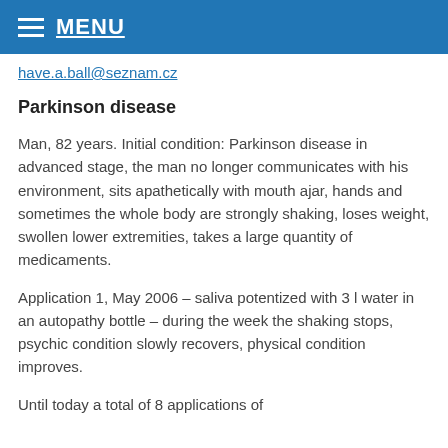MENU
have.a.ball@seznam.cz
Parkinson disease
Man, 82 years. Initial condition: Parkinson disease in advanced stage, the man no longer communicates with his environment, sits apathetically with mouth ajar, hands and sometimes the whole body are strongly shaking, loses weight, swollen lower extremities, takes a large quantity of medicaments.
Application 1, May 2006 – saliva potentized with 3 l water in an autopathy bottle – during the week the shaking stops, psychic condition slowly recovers, physical condition improves.
Until today a total of 8 applications of